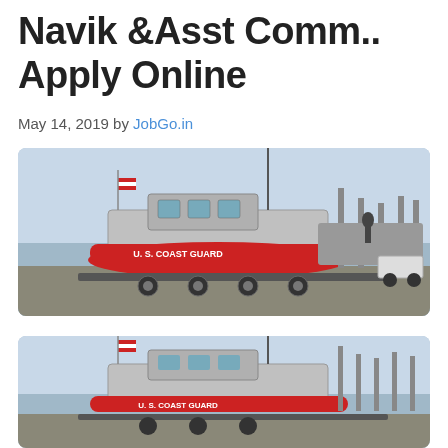Navik &Asst Comm.. Apply Online
May 14, 2019 by JobGo.in
[Figure (photo): U.S. Coast Guard red inflatable boat on a trailer in a parking area, with an American flag visible on the boat and dock structures in the background.]
[Figure (photo): Second view of the same U.S. Coast Guard red inflatable boat on a trailer, partially cropped at the bottom of the page.]